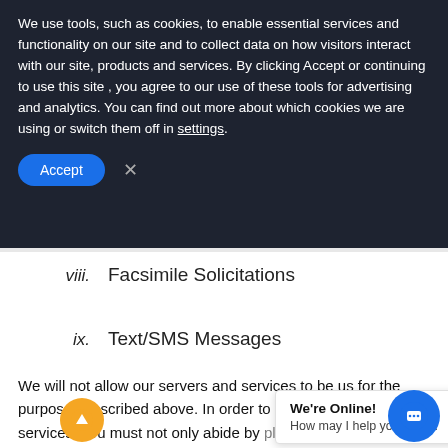We use tools, such as cookies, to enable essential services and functionality on our site and to collect data on how visitors interact with our site, products and services. By clicking Accept or continuing to use this site , you agree to our use of these tools for advertising and analytics. You can find out more about which cookies we are using or switch them off in settings.
viii. Facsimile Solicitations
ix. Text/SMS Messages
We will not allow our servers and services to be us for the purposes described above. In order to use products and services, you must not only abide by plicable laws in th Can-Spam Act o ne m Protection Act, but you must also abide by this no